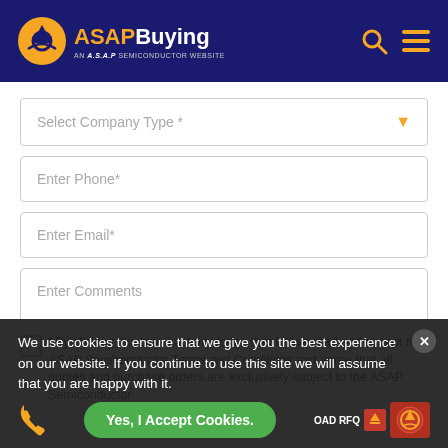[Figure (logo): ASAPBuying logo with orange airplane icon and text 'ASAPBuying AN A.S.A.P SEMICONDUCTOR WEBSITE' on dark navy header, with search and menu icons]
Select Company Type *
Enter Phone*
Enter Email*
Enter Comments
* By clicking this box, I acknowledge that I have read and accept the ASAP Semiconductor Terms and Conditions and agree that all quotes and purchase orders are exclusively subject to the ASAP Semiconductor...
We use cookies to ensure that we give you the best experience on our website. If you continue to use this site we will assume that you are happy with it.